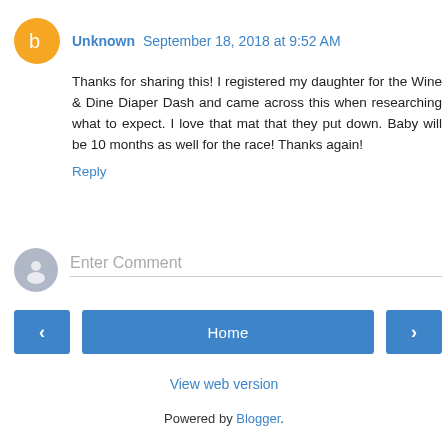Unknown September 18, 2018 at 9:52 AM
Thanks for sharing this! I registered my daughter for the Wine & Dine Diaper Dash and came across this when researching what to expect. I love that mat that they put down. Baby will be 10 months as well for the race! Thanks again!
Reply
Enter Comment
Home
View web version
Powered by Blogger.